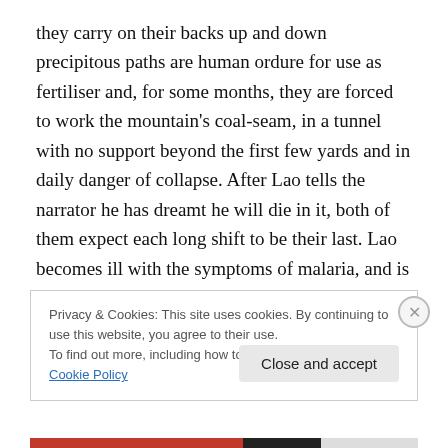they carry on their backs up and down precipitous paths are human ordure for use as fertiliser and, for some months, they are forced to work the mountain's coal-seam, in a tunnel with no support beyond the first few yards and in daily danger of collapse. After Lao tells the narrator he has dreamt he will die in it, both of them expect each long shift to be their last. Lao becomes ill with the symptoms of malaria, and is given some time to recover—cut short when a request is made by a neighbouring village for his storytelling services.
Privacy & Cookies: This site uses cookies. By continuing to use this website, you agree to their use.
To find out more, including how to control cookies, see here: Cookie Policy